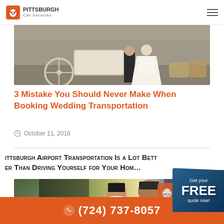Pittsburgh Car Services
[Figure (photo): Wedding couple holding hands near a horse-drawn carriage]
3 Mistake You Should Never Make When Booking Wedding Transportation
October 11, 2016
Pittsburgh Airport Transportation Is a Lot Better Than Driving Yourself for Your Ho...
[Figure (photo): Smiling couple sitting in a car, Pittsburgh Car Services watermark visible]
[Figure (infographic): Get your FREE quote now! badge in dark blue]
(724) 737-8057